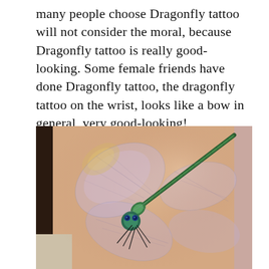many people choose Dragonfly tattoo will not consider the moral, because Dragonfly tattoo is really good-looking. Some female friends have done Dragonfly tattoo, the dragonfly tattoo on the wrist, looks like a bow in general, very good-looking!
[Figure (photo): Close-up photograph of a wrist/forearm showing a dragonfly tattoo with delicate translucent wings in purple/pink hues and a green body, detailed and realistic style.]